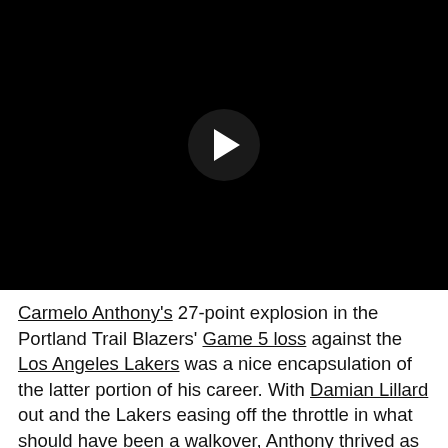[Figure (screenshot): Black video player area with a circular play button in the center]
Carmelo Anthony's 27-point explosion in the Portland Trail Blazers' Game 5 loss against the Los Angeles Lakers was a nice encapsulation of the latter portion of his career. With Damian Lillard out and the Lakers easing off the throttle in what should have been a walkover, Anthony thrived as